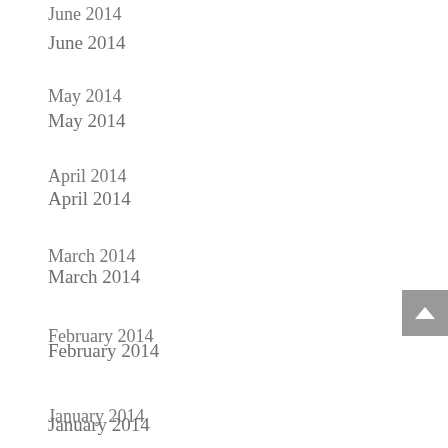June 2014
May 2014
April 2014
March 2014
February 2014
January 2014
December 2013
November 2013
September 2013
August 2013
July 2013